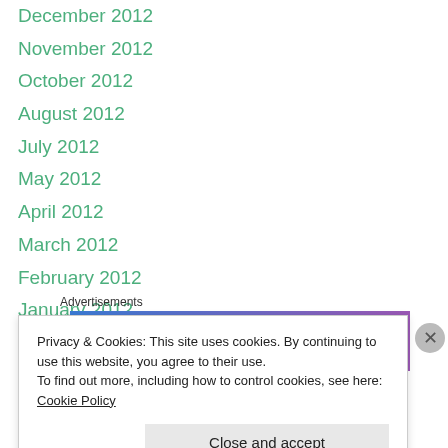December 2012
November 2012
October 2012
August 2012
July 2012
May 2012
April 2012
March 2012
February 2012
January 2012
[Figure (other): Advertisements banner with blue-to-purple gradient, and a small bottom bar with red, blue, dark, and red segments]
Privacy & Cookies: This site uses cookies. By continuing to use this website, you agree to their use.
To find out more, including how to control cookies, see here: Cookie Policy
Close and accept